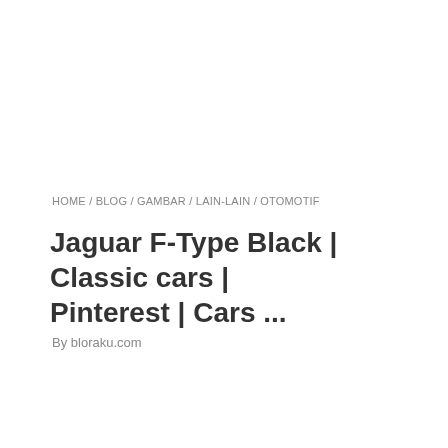HOME / BLOG / GAMBAR / LAIN-LAIN / OTOMOTIF
Jaguar F-Type Black | Classic cars | Pinterest | Cars ...
By bloraku.com